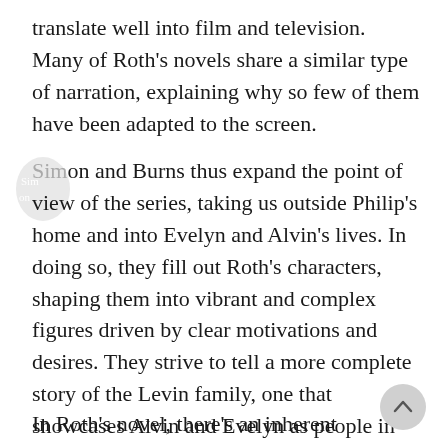translate well into film and television. Many of Roth's novels share a similar type of narration, explaining why so few of them have been adapted to the screen.
Simon and Burns thus expand the point of view of the series, taking us outside Philip's home and into Evelyn and Alvin's lives. In doing so, they fill out Roth's characters, shaping them into vibrant and complex figures driven by clear motivations and desires. They strive to tell a more complete story of the Levin family, one that showcases Alvin and Evelyn as people in their own right, more than what Phillip sees.
In Roth's novel, there's an inherent contradiction in